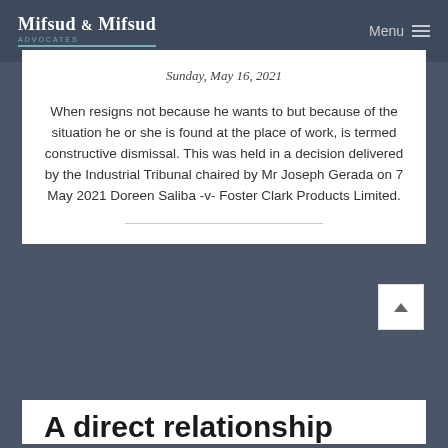Mifsud & Mifsud Advocates | Menu
Sunday, May 16, 2021
When resigns not because he wants to but because of the situation he or she is found at the place of work, is termed constructive dismissal. This was held in a decision delivered by the Industrial Tribunal chaired by Mr Joseph Gerada on 7 May 2021 Doreen Saliba -v- Foster Clark Products Limited.
A direct relationship